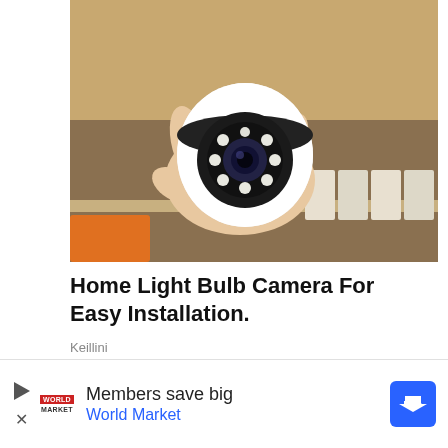[Figure (photo): A hand holding a white dome-shaped security camera with LED lights and a lens in the center, set against a background with shelving containing boxed items.]
Home Light Bulb Camera For Easy Installation.
Keillini
[Figure (photo): A smiling blonde woman and a man standing in front of a private jet against a blue sky.]
Members save big
World Market